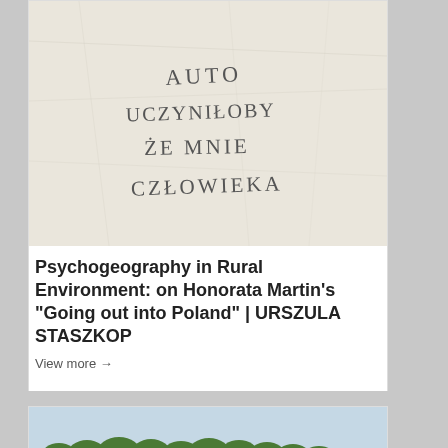[Figure (photo): Crumpled paper with handwritten text in Polish: AUTO UCZYNIŁOBY ŻE MNIE CZŁOWIEKA]
Psychogeography in Rural Environment: on Honorata Martin's "Going out into Poland" | URSZULA STASZKOP
View more →
[Figure (photo): Landscape photo showing a field with trees on the horizon under a light sky]